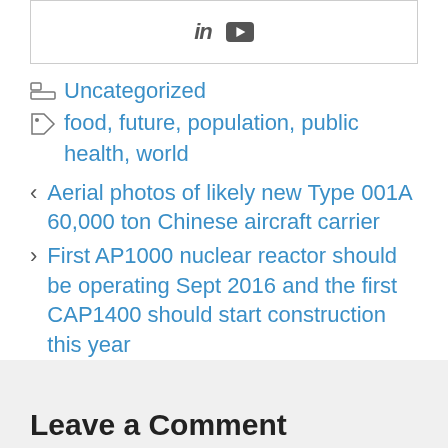[Figure (other): Social media icons: LinkedIn (in) and YouTube play button icon]
Uncategorized
food, future, population, public health, world
< Aerial photos of likely new Type 001A 60,000 ton Chinese aircraft carrier
> First AP1000 nuclear reactor should be operating Sept 2016 and the first CAP1400 should start construction this year
Leave a Comment